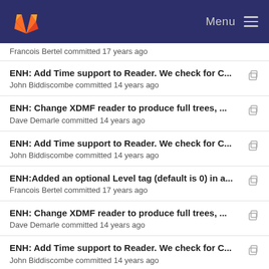GitLab — Menu
Francois Bertel committed 17 years ago
ENH: Add Time support to Reader. We check for C...
John Biddiscombe committed 14 years ago
ENH: Change XDMF reader to produce full trees, ...
Dave Demarle committed 14 years ago
ENH: Add Time support to Reader. We check for C...
John Biddiscombe committed 14 years ago
ENH:Added an optional Level tag (default is 0) in a...
Francois Bertel committed 17 years ago
ENH: Change XDMF reader to produce full trees, ...
Dave Demarle committed 14 years ago
ENH: Add Time support to Reader. We check for C...
John Biddiscombe committed 14 years ago
ENH: Change XDMF reader to produce full trees, ...